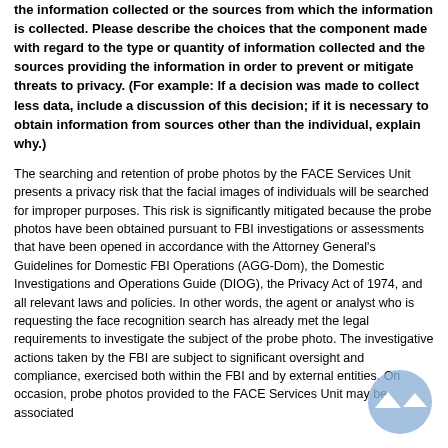the information collected or the sources from which the information is collected. Please describe the choices that the component made with regard to the type or quantity of information collected and the sources providing the information in order to prevent or mitigate threats to privacy. (For example: If a decision was made to collect less data, include a discussion of this decision; if it is necessary to obtain information from sources other than the individual, explain why.)
The searching and retention of probe photos by the FACE Services Unit presents a privacy risk that the facial images of individuals will be searched for improper purposes. This risk is significantly mitigated because the probe photos have been obtained pursuant to FBI investigations or assessments that have been opened in accordance with the Attorney General's Guidelines for Domestic FBI Operations (AGG-Dom), the Domestic Investigations and Operations Guide (DIOG), the Privacy Act of 1974, and all relevant laws and policies. In other words, the agent or analyst who is requesting the face recognition search has already met the legal requirements to investigate the subject of the probe photo. The investigative actions taken by the FBI are subject to significant oversight and compliance, exercised both within the FBI and by external entities. On occasion, probe photos provided to the FACE Services Unit may be associated